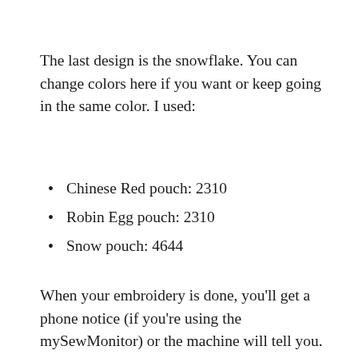The last design is the snowflake. You can change colors here if you want or keep going in the same color. I used:
Chinese Red pouch: 2310
Robin Egg pouch: 2310
Snow pouch: 4644
When your embroidery is done, you'll get a phone notice (if you're using the mySewMonitor) or the machine will tell you.
[Figure (screenshot): Mobile phone screenshot showing status bar with AT&T signal, 7:32 PM time, and Husqvarna Viking app header in red with white text, followed by partial EPIC bar below.]